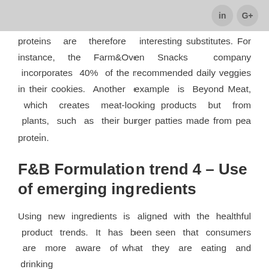in G+
proteins are therefore interesting substitutes. For instance, the Farm&Oven Snacks company incorporates 40% of the recommended daily veggies in their cookies. Another example is Beyond Meat, which creates meat-looking products but from plants, such as their burger patties made from pea protein.
F&B Formulation trend 4 – Use of emerging ingredients
Using new ingredients is aligned with the healthful product trends. It has been seen that consumers are more aware of what they are eating and drinking